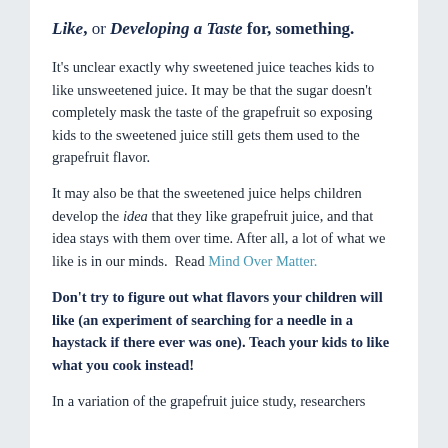Like, or Developing a Taste for, something.
It's unclear exactly why sweetened juice teaches kids to like unsweetened juice. It may be that the sugar doesn't completely mask the taste of the grapefruit so exposing kids to the sweetened juice still gets them used to the grapefruit flavor.
It may also be that the sweetened juice helps children develop the idea that they like grapefruit juice, and that idea stays with them over time. After all, a lot of what we like is in our minds.  Read Mind Over Matter.
Don't try to figure out what flavors your children will like (an experiment of searching for a needle in a haystack if there ever was one). Teach your kids to like what you cook instead!
In a variation of the grapefruit juice study, researchers